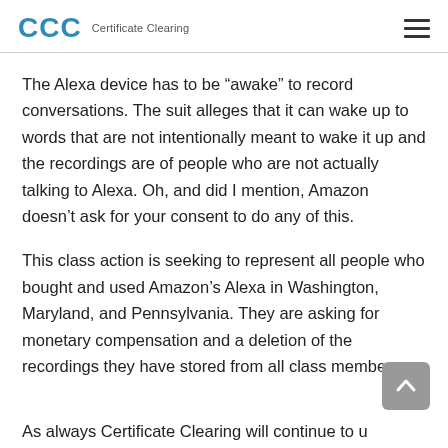CCC Certificate Clearing
The Alexa device has to be “awake” to record conversations. The suit alleges that it can wake up to words that are not intentionally meant to wake it up and the recordings are of people who are not actually talking to Alexa. Oh, and did I mention, Amazon doesn’t ask for your consent to do any of this.
This class action is seeking to represent all people who bought and used Amazon’s Alexa in Washington, Maryland, and Pennsylvania. They are asking for monetary compensation and a deletion of the recordings they have stored from all class members.
As always Certificate Clearing will continue to update